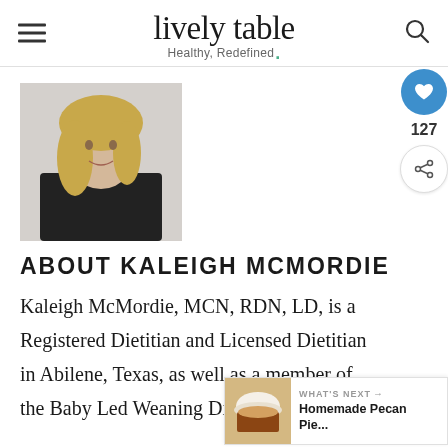lively table — Healthy, Redefined.
[Figure (photo): Portrait photo of Kaleigh McMordie, a woman with blonde hair wearing a black top, shown from shoulders up in a light-colored setting]
ABOUT KALEIGH MCMORDIE
Kaleigh McMordie, MCN, RDN, LD, is a Registered Dietitian and Licensed Dietitian in Abilene, Texas, as well as a member of the Baby Led Weaning Dietitians Network.